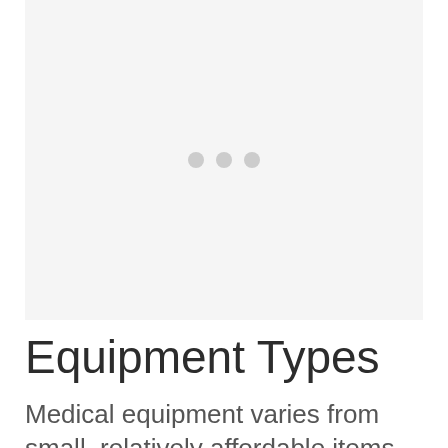[Figure (other): Light gray rectangular placeholder image with three small gray dots centered in the middle, indicating a loading or missing image state.]
Equipment Types
Medical equipment varies from small, relatively affordable items to